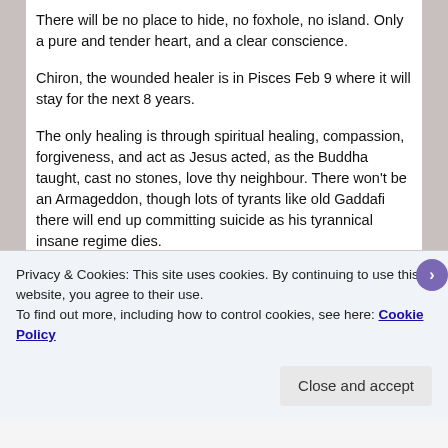There will be no place to hide, no foxhole, no island. Only a pure and tender heart, and a clear conscience.
Chiron, the wounded healer is in Pisces Feb 9 where it will stay for the next 8 years.
The only healing is through spiritual healing, compassion, forgiveness, and act as Jesus acted, as the Buddha taught, cast no stones, love thy neighbour. There won't be an Armageddon, though lots of tyrants like old Gaddafi there will end up committing suicide as his tyrannical insane regime dies.
Smaller cycles:
Privacy & Cookies: This site uses cookies. By continuing to use this website, you agree to their use.
To find out more, including how to control cookies, see here: Cookie Policy